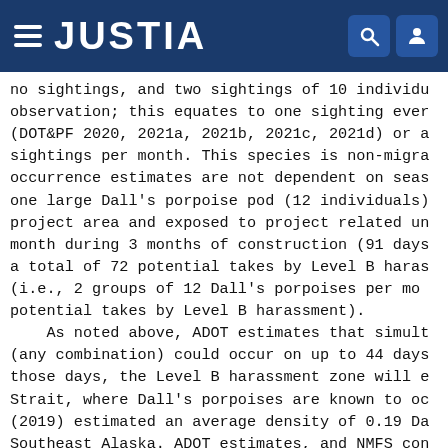JUSTIA
no sightings, and two sightings of 10 individu observation; this equates to one sighting ever (DOT&PF 2020, 2021a, 2021b, 2021c, 2021d) or a sightings per month. This species is non-migra occurrence estimates are not dependent on seas one large Dall's porpoise pod (12 individuals) project area and exposed to project related un month during 3 months of construction (91 days a total of 72 potential takes by Level B haras (i.e., 2 groups of 12 Dall's porpoises per mo potential takes by Level B harassment). As noted above, ADOT estimates that simult (any combination) could occur on up to 44 days those days, the Level B harassment zone will e Strait, where Dall's porpoises are known to oc (2019) estimated an average density of 0.19 Da Southeast Alaska. ADOT estimates, and NMFS con